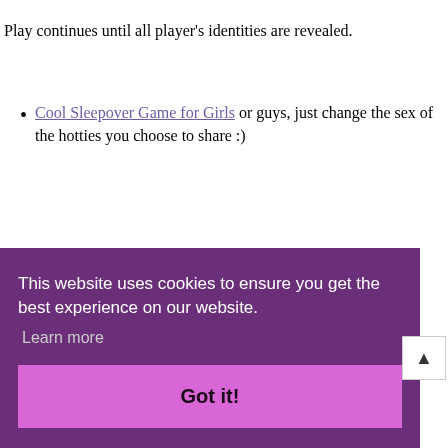Play continues until all player's identities are revealed.
Cool Sleepover Game for Girls or guys, just change the sex of the hotties you choose to share :)
This website uses cookies to ensure you get the best experience on our website.
Learn more
Got it!